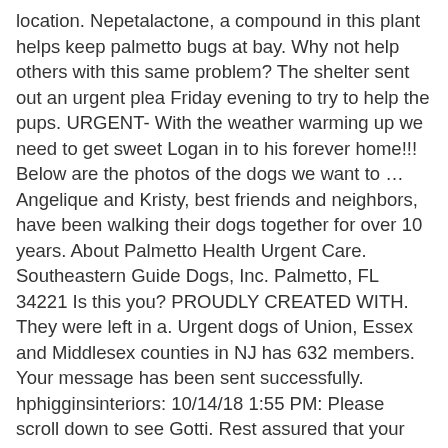location. Nepetalactone, a compound in this plant helps keep palmetto bugs at bay. Why not help others with this same problem? The shelter sent out an urgent plea Friday evening to try to help the pups. URGENT- With the weather warming up we need to get sweet Logan in to his forever home!!! Below are the photos of the dogs we want to … Angelique and Kristy, best friends and neighbors, have been walking their dogs together for over 10 years. About Palmetto Health Urgent Care. Southeastern Guide Dogs, Inc. Palmetto, FL 34221 Is this you? PROUDLY CREATED WITH. They were left in a. Urgent dogs of Union, Essex and Middlesex counties in NJ has 632 members. Your message has been sent successfully. hphigginsinteriors: 10/14/18 1:55 PM: Please scroll down to see Gotti. Rest assured that your pet will be in good hands and have a welcome stay here at PAWmetto Pet Inn! The Urgent Dogs Of Florida page is here to help the shelters showcase and network some of the harder to adopt dogs. How to Adopt. Lost & Found. PawMat brings